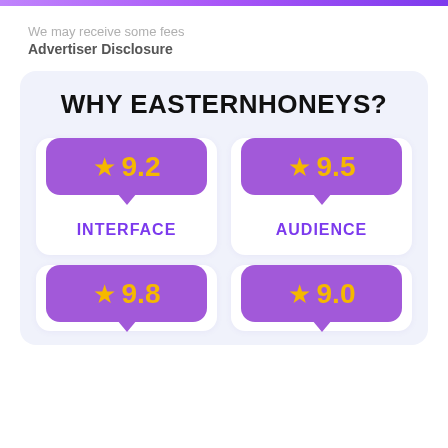We may receive some fees
Advertiser Disclosure
WHY EASTERNHONEYS?
[Figure (infographic): Rating card: star icon with score 9.2, label INTERFACE]
[Figure (infographic): Rating card: star icon with score 9.5, label AUDIENCE]
[Figure (infographic): Rating card: star icon with score 9.8]
[Figure (infographic): Rating card: star icon with score 9.0]